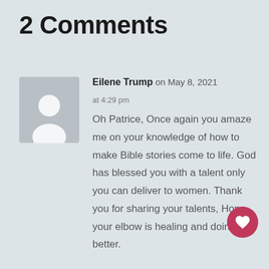2 Comments
Eilene Trump on May 8, 2021 at 4:29 pm

Oh Patrice, Once again you amaze me on your knowledge of how to make Bible stories come to life. God has blessed you with a talent only you can deliver to women. Thank you for sharing your talents, Hope your elbow is healing and doing better.